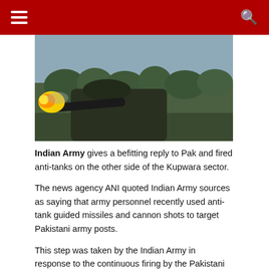☰  [search icon]
[Figure (photo): A soldier firing an anti-tank weapon with a muzzle flash visible, forested background in the distance]
Indian Army gives a befitting reply to Pak and fired anti-tanks on the other side of the Kupwara sector.
The news agency ANI quoted Indian Army sources as saying that army personnel recently used anti-tank guided missiles and cannon shots to target Pakistani army posts.
This step was taken by the Indian Army in response to the continuous firing by the Pakistani military for the purpose of infiltrating terrorists into Jammu and Kashmir.